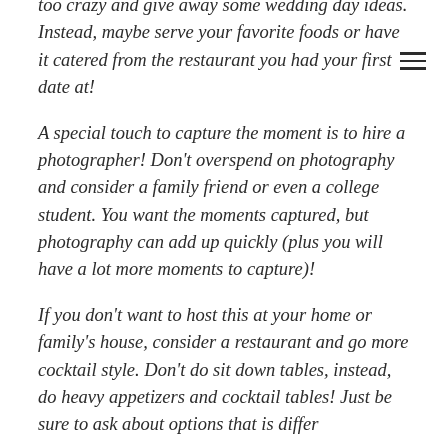too crazy and give away some wedding day ideas. Instead, maybe serve your favorite foods or have it catered from the restaurant you had your first date at!
A special touch to capture the moment is to hire a photographer! Don't overspend on photography and consider a family friend or even a college student. You want the moments captured, but photography can add up quickly (plus you will have a lot more moments to capture)!
If you don't want to host this at your home or family's house, consider a restaurant and go more cocktail style. Don't do sit down tables, instead, do heavy appetizers and cocktail tables! Just be sure to ask about options that is differ...